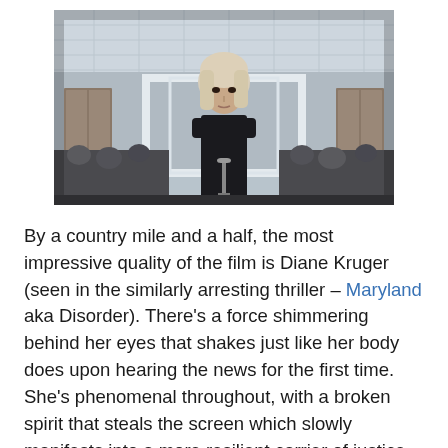[Figure (photo): A blonde woman in a black turtleneck stands at a podium/microphone in what appears to be a courtroom or formal hearing room. Behind her is a large white rectangular frame structure. The room is filled with people/crowd in the background. The setting has a formal, institutional look with a gridded ceiling.]
By a country mile and a half, the most impressive quality of the film is Diane Kruger (seen in the similarly arresting thriller – Maryland aka Disorder). There's a force shimmering behind her eyes that shakes just like her body does upon hearing the news for the first time. She's phenomenal throughout, with a broken spirit that steals the screen which slowly manifests into a more resilient carrier of justice. She retains a believable vulnerability but after a rising like a bloody phoenix,